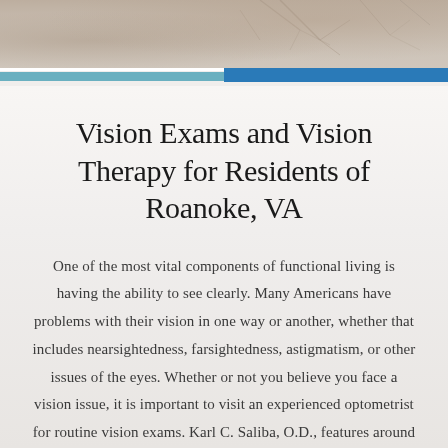[Figure (photo): Top banner with muted winter tree branches texture in warm gray tones]
Vision Exams and Vision Therapy for Residents of Roanoke, VA
One of the most vital components of functional living is having the ability to see clearly. Many Americans have problems with their vision in one way or another, whether that includes nearsightedness, farsightedness, astigmatism, or other issues of the eyes. Whether or not you believe you face a vision issue, it is important to visit an experienced optometrist for routine vision exams. Karl C. Saliba, O.D., features around 40 years of experience in optometry, and